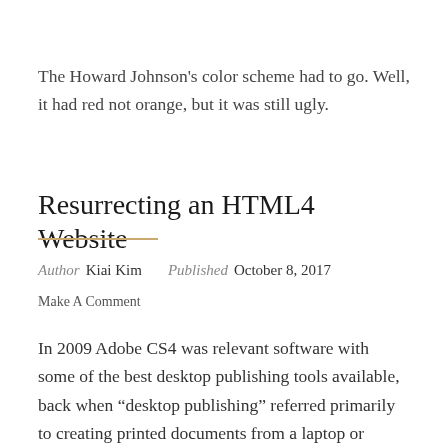The Howard Johnson's color scheme had to go. Well, it had red not orange, but it was still ugly.
Resurrecting an HTML4 Website
Author  Kiai Kim    Published  October 8, 2017
Make A Comment
In 2009 Adobe CS4 was relevant software with some of the best desktop publishing tools available, back when “desktop publishing” referred primarily to creating printed documents from a laptop or desktop